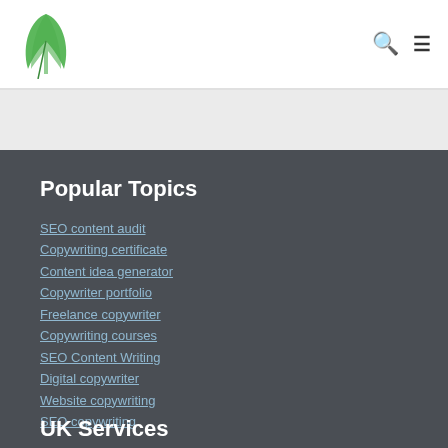[Figure (logo): Green feather/leaf quill pen logo]
Search icon and hamburger menu icon
Popular Topics
SEO content audit
Copywriting certificate
Content idea generator
Copywriter portfolio
Freelance copywriter
Copywriting courses
SEO Content Writing
Digital copywriter
Website copywriting
SEO copywriting
UK Services